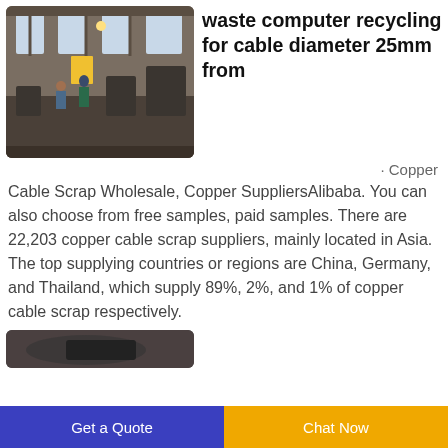[Figure (photo): Industrial workshop/factory interior with workers and heavy machinery, yellow sign visible]
waste computer recycling for cable diameter 25mm from
· Copper Cable Scrap Wholesale, Copper SuppliersAlibaba. You can also choose from free samples, paid samples. There are 22,203 copper cable scrap suppliers, mainly located in Asia. The top supplying countries or regions are China, Germany, and Thailand, which supply 89%, 2%, and 1% of copper cable scrap respectively.
[Figure (photo): Partial view of a second image at bottom of page]
Get a Quote
Chat Now